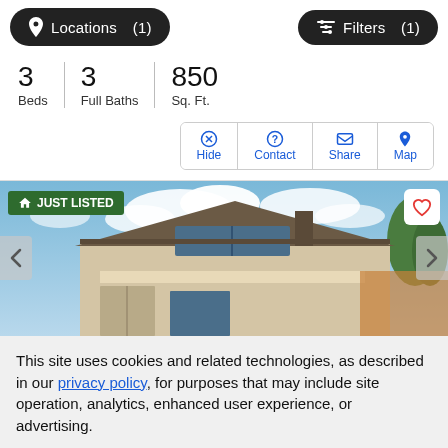Locations (1)   Filters (1)
3 Beds   3 Full Baths   850 Sq. Ft.
[Figure (screenshot): Action buttons row: Hide, Contact, Share, Map]
[Figure (photo): House exterior photo with 'JUST LISTED' badge, heart/favorite button, and navigation arrows. Shows rooftop of a two-story beige stucco home against blue sky with clouds and green trees.]
This site uses cookies and related technologies, as described in our privacy policy, for purposes that may include site operation, analytics, enhanced user experience, or advertising.
Manage Preferences   Accept